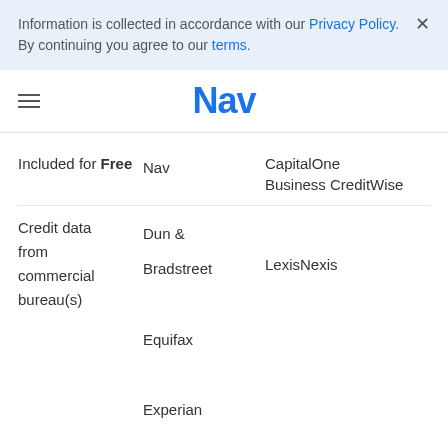Information is collected in accordance with our Privacy Policy. By continuing you agree to our terms.
Nav
|  | Nav | CapitalOne Business CreditWise |
| --- | --- | --- |
| Included for Free | Nav | CapitalOne Business CreditWise |
| Credit data from commercial bureau(s) | Dun & Bradstreet
Equifax
Experian | LexisNexis |
|  | Credit |  |